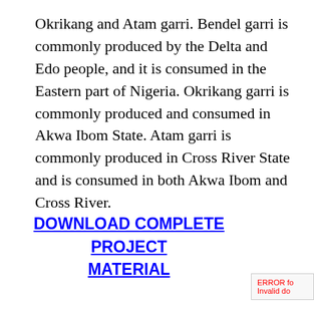Okrikang and Atam garri. Bendel garri is commonly produced by the Delta and Edo people, and it is consumed in the Eastern part of Nigeria. Okrikang garri is commonly produced and consumed in Akwa Ibom State. Atam garri is commonly produced in Cross River State and is consumed in both Akwa Ibom and Cross River.
DOWNLOAD COMPLETE PROJECT MATERIAL
ERROR for Invalid do